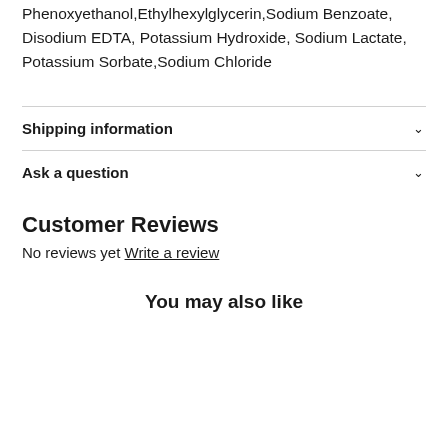Phenoxyethanol,Ethylhexylglycerin,Sodium Benzoate, Disodium EDTA, Potassium Hydroxide, Sodium Lactate, Potassium Sorbate,Sodium Chloride
Shipping information
Ask a question
Customer Reviews
No reviews yet Write a review
You may also like